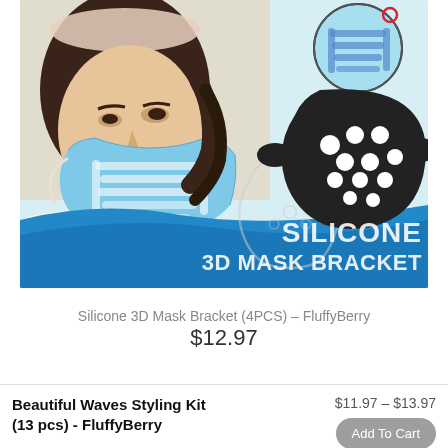[Figure (photo): Product image showing a woman wearing a blue face mask with a silicone 3D bracket inside. Top right shows a circular detail view of the bracket and a black silicone bracket icon. Bottom of image has a blue wave background with the text 'SILICONE 3D MASK BRACKET' in white bold letters.]
Silicone 3D Mask Bracket (4PCS) – FluffyBerry
$12.97
Beautiful Waves Styling Kit (13 pcs) - FluffyBerry
$11.97 – $13.97
Add To Cart